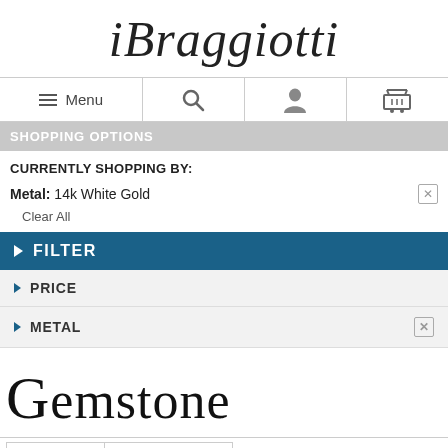[Figure (logo): iBraggiotti cursive script logo]
Menu | Search | Account | Cart navigation bar
SHOPPING OPTIONS
CURRENTLY SHOPPING BY:
Metal: 14k White Gold
Clear All
FILTER
PRICE
METAL
Gemstone
SORT BY  ▼    36 PER PAGE  ▼    2 Item(s)